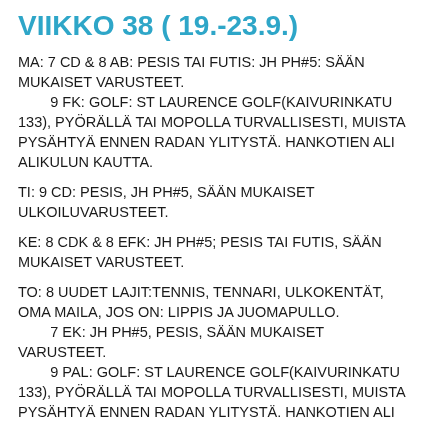VIIKKO 38 ( 19.-23.9.)
MA: 7 CD & 8 AB: PESIS TAI FUTIS: JH PH#5: SÄÄN MUKAISET VARUSTEET.
        9 FK: GOLF: ST LAURENCE GOLF(KAIVURINKATU 133), PYÖRÄLLÄ TAI MOPOLLA TURVALLISESTI, MUISTA PYSÄHTYÄ ENNEN RADAN YLITYSTÄ. HANKOTIEN ALI ALIKULUN KAUTTA.
TI: 9 CD: PESIS, JH PH#5, SÄÄN MUKAISET ULKOILUVARUSTEET.
KE: 8 CDK & 8 EFK: JH PH#5; PESIS TAI FUTIS, SÄÄN MUKAISET VARUSTEET.
TO: 8 UUDET LAJIT:TENNIS, TENNARI, ULKOKENTÄT, OMA MAILA, JOS ON: LIPPIS JA JUOMAPULLO.
        7 EK: JH PH#5, PESIS, SÄÄN MUKAISET VARUSTEET.
        9 PAL: GOLF: ST LAURENCE GOLF(KAIVURINKATU 133), PYÖRÄLLÄ TAI MOPOLLA TURVALLISESTI, MUISTA PYSÄHTYÄ ENNEN RADAN YLITYSTÄ. HANKOTIEN ALI